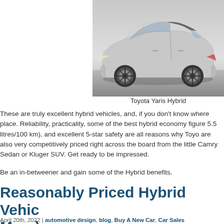[Figure (photo): Silver Toyota Yaris Hybrid hatchback viewed from the side, parked on a grey background with studio lighting]
Toyota Yaris Hybrid
These are truly excellent hybrid vehicles, and, if you don't know where place. Reliability, practicality, some of the best hybrid economy figure 5.5 litres/100 km), and excellent 5-star safety are all reasons why Toyo are also very competitively priced right across the board from the little Camry Sedan or Kluger SUV. Get ready to be impressed.
Be an in-betweener and gain some of the Hybrid benefits.
Reasonably Priced Hybrid Vehic Merc)
April 20th, 2022 | automotive design, blog, Buy A New Car, Car Sales Electric Vehicles (EVs), Environment, Fueling your Car, Hybrid